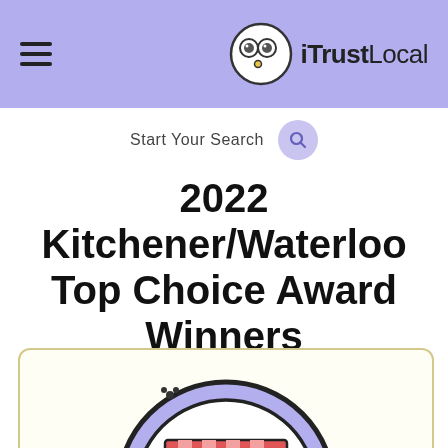iTrustLocal — hamburger menu and logo header
Start Your Search
2022 Kitchener/Waterloo Top Choice Award Winners
[Figure (illustration): Cartoon illustration of a local business storefront inside a circular purple badge/seal, partially visible at the bottom of the page. The storefront shows a red and white striped awning inside a dark-outlined circle with a lavender/purple outer ring.]